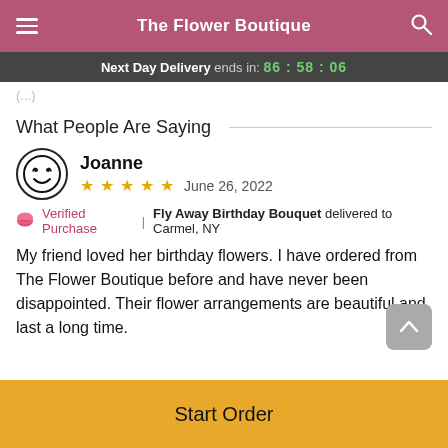The Flower Boutique
Next Day Delivery ends in: 86 : 58 : 06
(truncated text above section)
What People Are Saying
Joanne
★★★★★  June 26, 2022
🎀 Verified Purchase  |  Fly Away Birthday Bouquet delivered to Carmel, NY
My friend loved her birthday flowers. I have ordered from The Flower Boutique before and have never been disappointed. Their flower arrangements are beautiful and last a long time.
Start Order